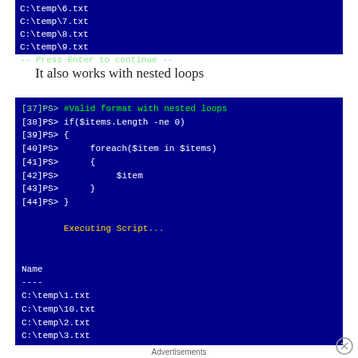[Figure (screenshot): PowerShell console showing file paths C:\temp\6.txt through C:\temp\9.txt and a 'Press Enter to continue --' prompt on dark blue background]
It also works with nested loops
[Figure (screenshot): PowerShell console showing lines [37] through [44] with a nested loops script: if($items.Length -ne 0) { foreach($item in $items) { $item } }, then 'Executing Script...' in yellow, followed by output Name, ----, C:\temp\1.txt, C:\temp\10.txt, C:\temp\2.txt, C:\temp\3.txt, C:\temp\4.txt, C:\temp\5.txt on dark blue background]
Advertisements